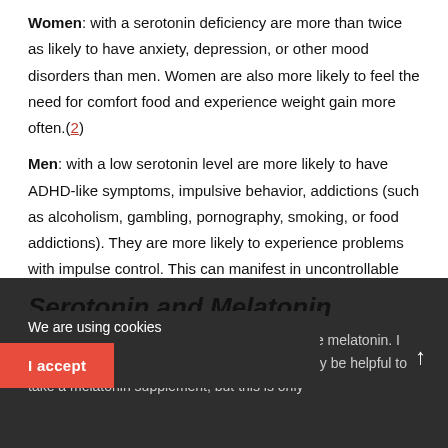Women: with a serotonin deficiency are more than twice as likely to have anxiety, depression, or other mood disorders than men. Women are also more likely to feel the need for comfort food and experience weight gain more often.(2)
Men: with a low serotonin level are more likely to have ADHD-like symptoms, impulsive behavior, addictions (such as alcoholism, gambling, pornography, smoking, or food addictions). They are more likely to experience problems with impulse control. This can manifest in uncontrollable anger or other socially unacceptable behavior.
Serotonin and Melatonin
Serotonin is the precursor of the sleep hormone melatonin. I sleep problems have a serotonin deficiency may be helpful to take a melatonin supplement, but this is only